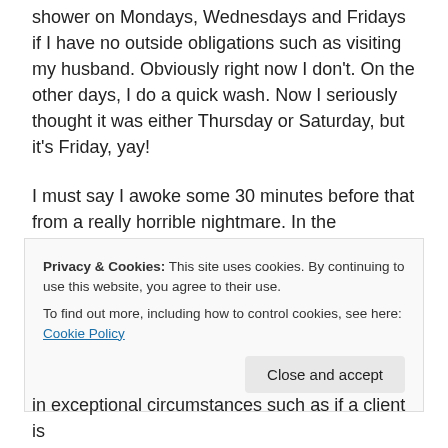shower on Mondays, Wednesdays and Fridays if I have no outside obligations such as visiting my husband. Obviously right now I don't. On the other days, I do a quick wash. Now I seriously thought it was either Thursday or Saturday, but it's Friday, yay!
I must say I awoke some 30 minutes before that from a really horrible nightmare. In the nightmare, I somehow left the facility to visit my husband and then couldn't come back because of the lockdown. It ended with my husband being angry with me for wanting to go back to the facility at all.
The night... [partially visible]
Privacy & Cookies: This site uses cookies. By continuing to use this website, you agree to their use. To find out more, including how to control cookies, see here: Cookie Policy
Close and accept
in exceptional circumstances such as if a client is